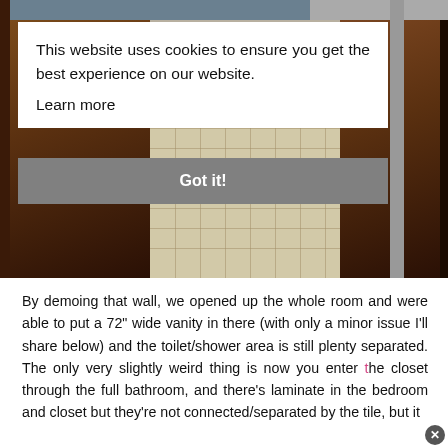[Figure (photo): Bathroom interior photo showing wooden door frames, a toilet partially visible, and tile flooring in a bathroom renovation context]
This website uses cookies to ensure you get the best experience on our website.
Learn more
Got it!
By demoing that wall, we opened up the whole room and were able to put a 72" wide vanity in there (with only a minor issue I'll share below) and the toilet/shower area is still plenty separated. The only very slightly weird thing is now you enter the closet through the full bathroom, and there's laminate in the bedroom and closet but they're not connected/separated by the tile, but it